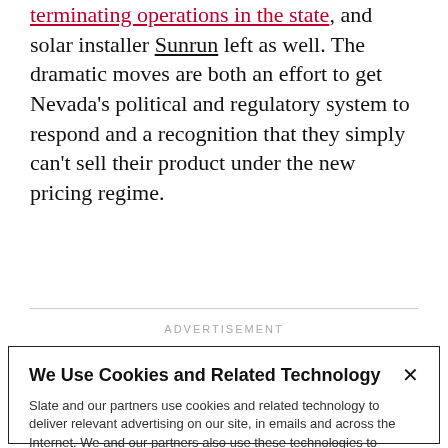terminating operations in the state, and solar installer Sunrun left as well. The dramatic moves are both an effort to get Nevada's political and regulatory system to respond and a recognition that they simply can't sell their product under the new pricing regime.
ADVERTISEMENT
We Use Cookies and Related Technology
Slate and our partners use cookies and related technology to deliver relevant advertising on our site, in emails and across the Internet. We and our partners also use these technologies to personalize content and perform site analytics. For more information, see our terms and privacy policy. Privacy Policy
OK